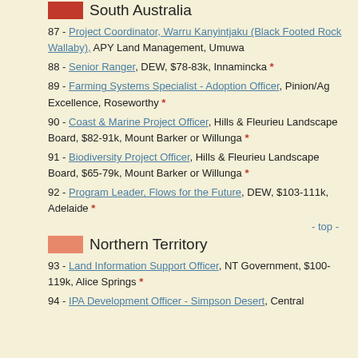South Australia
87 - Project Coordinator, Warru Kanyintjaku (Black Footed Rock Wallaby), APY Land Management, Umuwa
88 - Senior Ranger, DEW, $78-83k, Innamincka *
89 - Farming Systems Specialist - Adoption Officer, Pinion/Ag Excellence, Roseworthy *
90 - Coast & Marine Project Officer, Hills & Fleurieu Landscape Board, $82-91k, Mount Barker or Willunga *
91 - Biodiversity Project Officer, Hills & Fleurieu Landscape Board, $65-79k, Mount Barker or Willunga *
92 - Program Leader, Flows for the Future, DEW, $103-111k, Adelaide *
- top -
Northern Territory
93 - Land Information Support Officer, NT Government, $100-119k, Alice Springs *
94 - IPA Development Officer - Simpson Desert, Central